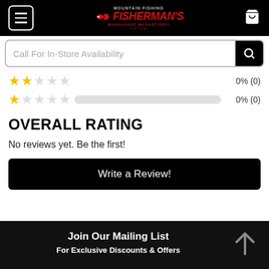[Figure (screenshot): Fisherman's online store header with hamburger menu, logo, and cart icon on black background]
Call For In-Store Availability
0% (0)
0% (0)
OVERALL RATING
No reviews yet. Be the first!
Write a Review!
Join Our Mailing List
For Exclusive Discounts & Offers